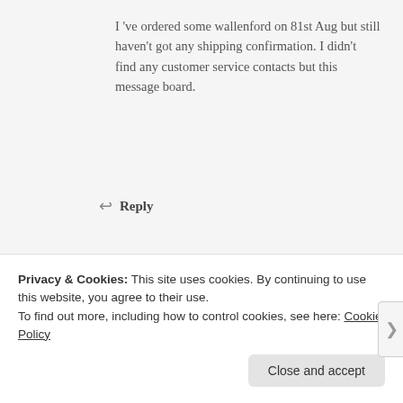I 've ordered some wallenford on 81st Aug but still haven't got any shipping confirmation. I didn't find any customer service contacts but this message board.
↩ Reply
jamaicamocha
OCTOBER 3, 2020 AT 1:22 PM
Hi. Sharon we will track the order. But definitely
Privacy & Cookies: This site uses cookies. By continuing to use this website, you agree to their use.
To find out more, including how to control cookies, see here: Cookie Policy
Close and accept